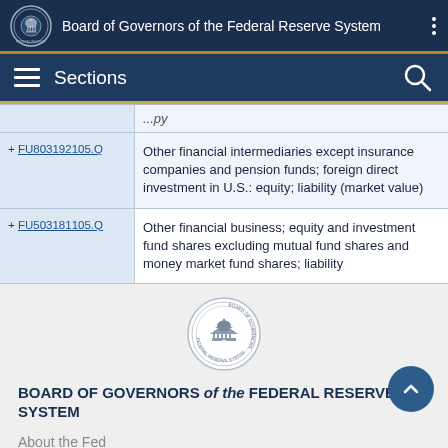Board of Governors of the Federal Reserve System
Sections
| Code | Description |
| --- | --- |
| + FU803192105.Q | Other financial intermediaries except insurance companies and pension funds; foreign direct investment in U.S.: equity; liability (market value) |
| + FU503181105.Q | Other financial business; equity and investment fund shares excluding mutual fund shares and money market fund shares; liability |
[Figure (logo): Federal Reserve seal/logo in footer]
BOARD OF GOVERNORS of the FEDERAL RESERVE SYSTEM
About the Fed
News & Events